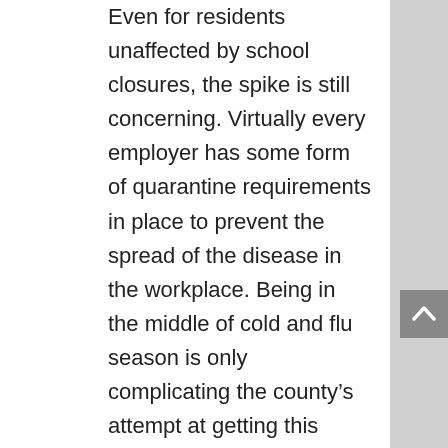Even for residents unaffected by school closures, the spike is still concerning. Virtually every employer has some form of quarantine requirements in place to prevent the spread of the disease in the workplace. Being in the middle of cold and flu season is only complicating the county's attempt at getting this surge under control further. The Omicron variant is especially tricky to detect, as its symptoms can be extremely mild or nonexistent in vaccinated people. Important to note, many people report feeling as if they had only a minor cold. Acquiring home testing kits has been incredibly difficult, as the need for them has largely overwhelmed local supplies. This has forced many people to seek testing kits via Elk Grove social media groups. This extreme spike in cases has many healthcare officials worried. New quarantine guidelines are shortening the quarantine period for